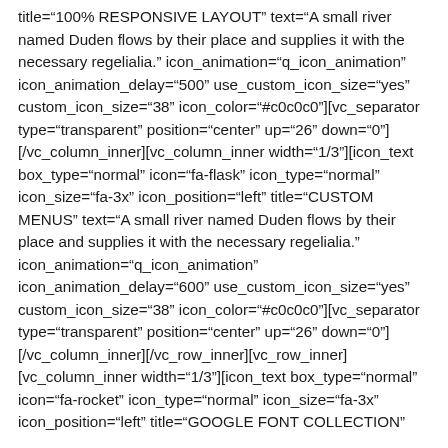title="100% RESPONSIVE LAYOUT" text="A small river named Duden flows by their place and supplies it with the necessary regelialia." icon_animation="q_icon_animation" icon_animation_delay="500" use_custom_icon_size="yes" custom_icon_size="38" icon_color="#c0c0c0"][vc_separator type="transparent" position="center" up="26" down="0"] [/vc_column_inner][vc_column_inner width="1/3"][icon_text box_type="normal" icon="fa-flask" icon_type="normal" icon_size="fa-3x" icon_position="left" title="CUSTOM MENUS" text="A small river named Duden flows by their place and supplies it with the necessary regelialia." icon_animation="q_icon_animation" icon_animation_delay="600" use_custom_icon_size="yes" custom_icon_size="38" icon_color="#c0c0c0"][vc_separator type="transparent" position="center" up="26" down="0"] [/vc_column_inner][/vc_row_inner][vc_row_inner] [vc_column_inner width="1/3"][icon_text box_type="normal" icon="fa-rocket" icon_type="normal" icon_size="fa-3x" icon_position="left" title="GOOGLE FONT COLLECTION"